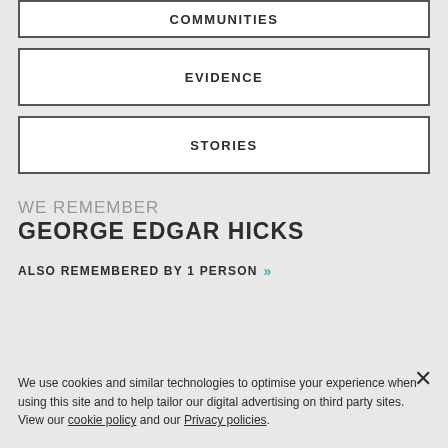COMMUNITIES
EVIDENCE
STORIES
WE REMEMBER
GEORGE EDGAR HICKS
ALSO REMEMBERED BY 1 PERSON »
We use cookies and similar technologies to optimise your experience when using this site and to help tailor our digital advertising on third party sites. View our cookie policy and our Privacy policies.